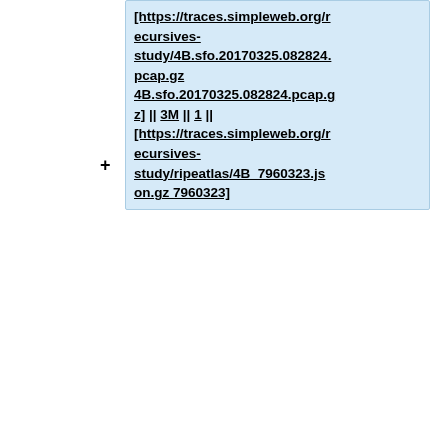[https://traces.simpleweb.org/recursives-study/4B.sfo.20170325.082824.pcap.gz 4B.sfo.20170325.082824.pcap.gz] || 3M || 1 || [https://traces.simpleweb.org/recursives-study/ripeatlas/4B_7960323.json.gz 7960323]
|}
== Acceptable use ==
The use of the datasets above for research or other purposes is subject to the